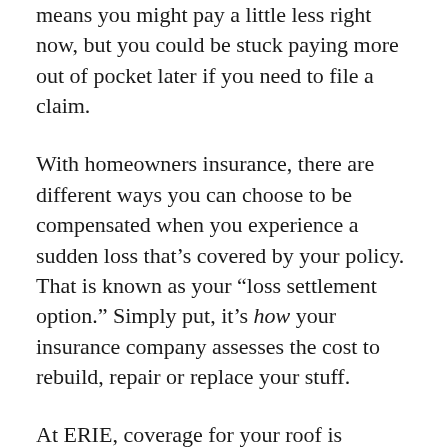means you might pay a little less right now, but you could be stuck paying more out of pocket later if you need to file a claim.
With homeowners insurance, there are different ways you can choose to be compensated when you experience a sudden loss that's covered by your policy. That is known as your “loss settlement option.” Simply put, it’s how your insurance company assesses the cost to rebuild, repair or replace your stuff.
At ERIE, coverage for your roof is factored into the cost to insure your dwelling. Loss settlement options for your dwelling may vary by state, so talk to your ERIE agent to better understand your options.